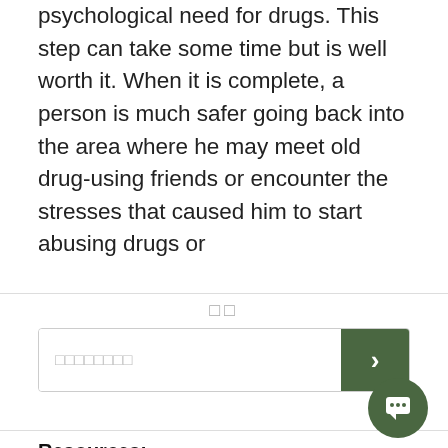psychological need for drugs. This step can take some time but is well worth it. When it is complete, a person is much safer going back into the area where he may meet old drug-using friends or encounter the stresses that caused him to start abusing drugs or
□□
□□□□□□□□
□□
Resources:
http://wiki.medpedia.com/Hallucinogens_-_LSD,_Peyote,_Psilocybin,_and_PCP
http://forums.officer.com/t52054/
http://www.youtube.com/watch?...